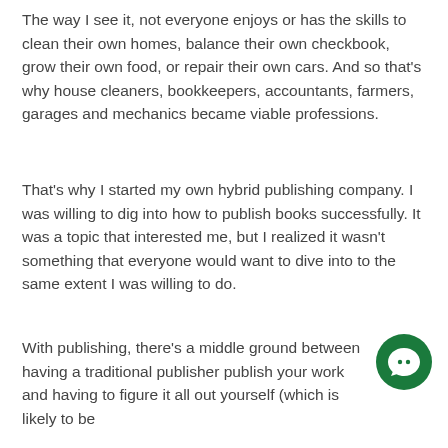The way I see it, not everyone enjoys or has the skills to clean their own homes, balance their own checkbook, grow their own food, or repair their own cars. And so that's why house cleaners, bookkeepers, accountants, farmers, garages and mechanics became viable professions.
That's why I started my own hybrid publishing company. I was willing to dig into how to publish books successfully. It was a topic that interested me, but I realized it wasn't something that everyone would want to dive into to the same extent I was willing to do.
With publishing, there's a middle ground between having a traditional publisher publish your work and having to figure it all out yourself (which is likely to be